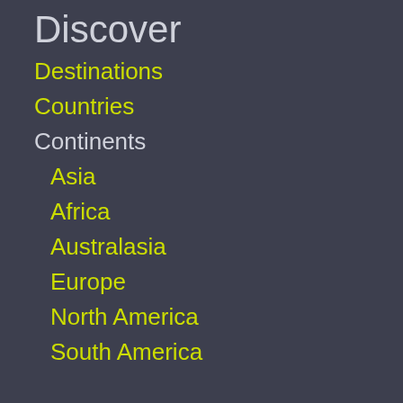Discover
Destinations
Countries
Continents
Asia
Africa
Australasia
Europe
North America
South America
News
Headlines